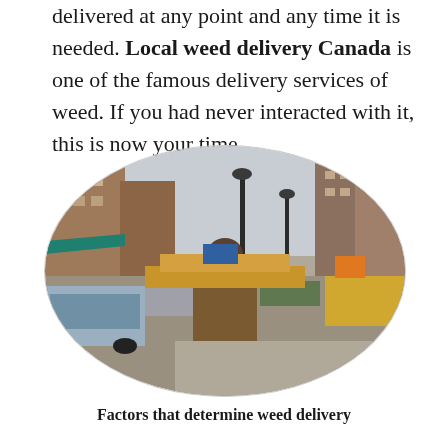delivered at any point and any time it is needed. Local weed delivery Canada is one of the famous delivery services of weed. If you had never interacted with it, this is now your time.
[Figure (photo): A delivery person carrying large cardboard packages walking down a city street, viewed from behind, with cars, buildings, and street lamps visible. The image is cropped in an oval shape.]
Factors that determine weed delivery